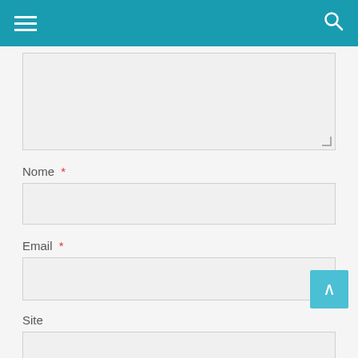[Figure (screenshot): Mobile website header with teal/blue navigation bar containing hamburger menu icon on the left and search icon on the right]
Nome *
Email *
Site